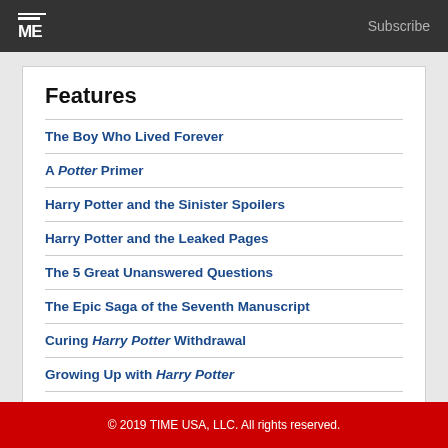TIME | Subscribe
Features
The Boy Who Lived Forever
A Potter Primer
Harry Potter and the Sinister Spoilers
Harry Potter and the Leaked Pages
The 5 Great Unanswered Questions
The Epic Saga of the Seventh Manuscript
Curing Harry Potter Withdrawal
Growing Up with Harry Potter
© 2019 TIME USA, LLC. All rights reserved.